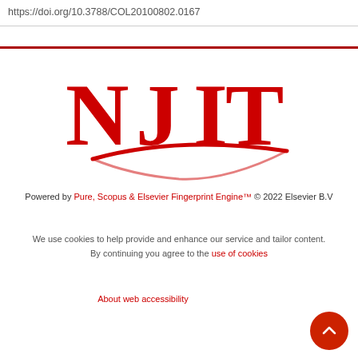https://doi.org/10.3788/COL20100802.0167
[Figure (logo): NJIT (New Jersey Institute of Technology) logo in red with swoosh underline]
Powered by Pure, Scopus & Elsevier Fingerprint Engine™ © 2022 Elsevier B.V
We use cookies to help provide and enhance our service and tailor content. By continuing you agree to the use of cookies
About web accessibility